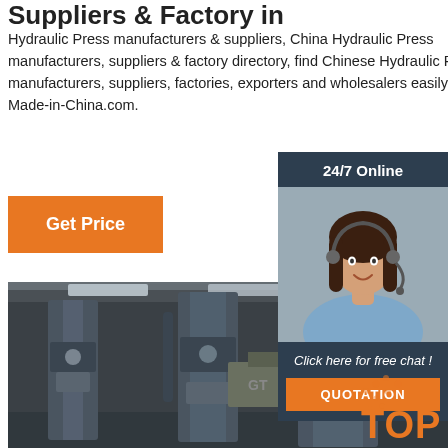Suppliers & Factory in
Hydraulic Press manufacturers & suppliers, China Hydraulic Press manufacturers, suppliers & factory directory, find Chinese Hydraulic Press manufacturers, suppliers, factories, exporters and wholesalers easily on Made-in-China.com.
[Figure (screenshot): Orange 'Get Price' button]
[Figure (photo): 24/7 online chat widget with female customer service agent wearing headset, dark navy background, 'Click here for free chat!' text, and orange QUOTATION button]
[Figure (photo): Factory floor photo showing large hydraulic press machinery in an industrial warehouse setting]
[Figure (other): Orange TOP badge with dot pattern in bottom right corner]